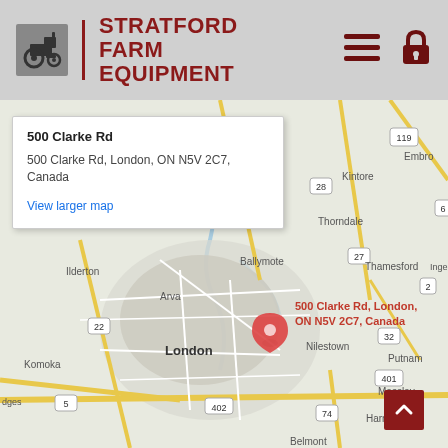[Figure (logo): Stratford Farm Equipment logo with tractor icon and red text]
[Figure (infographic): Hamburger menu icon (three dark red horizontal lines)]
[Figure (infographic): Lock icon in dark red]
[Figure (map): Google Maps screenshot showing London, Ontario area with a pin at 500 Clarke Rd, London, ON N5V 2C7, Canada. Surrounding areas include Ilderton, Ballymote, Arva, Thamesford, Thorndale, Kintore, Nilestown, Putnam, Mossley, Harrietsville, Belmont, Komoka. Roads shown include routes 22, 23, 27, 74, 119, 401, 402.]
500 Clarke Rd
500 Clarke Rd, London, ON N5V 2C7, Canada
View larger map
500 Clarke Rd, London, ON N5V 2C7, Canada